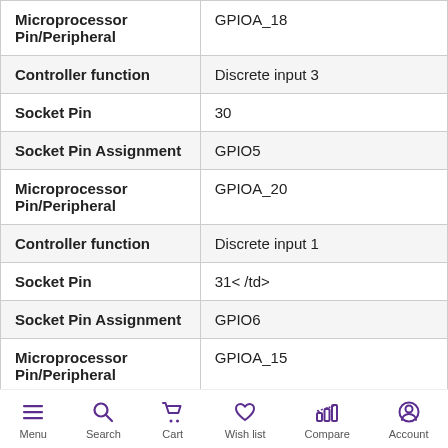| Property | Value |
| --- | --- |
| Microprocessor Pin/Peripheral | GPIOA_18 |
| Controller function | Discrete input 3 |
| Socket Pin | 30 |
| Socket Pin Assignment | GPIO5 |
| Microprocessor Pin/Peripheral | GPIOA_20 |
| Controller function | Discrete input 1 |
| Socket Pin | 31< /td> |
| Socket Pin Assignment | GPIO6 |
| Microprocessor Pin/Peripheral | GPIOA_15 |
Menu  Search  Cart  Wish list  Compare  Account